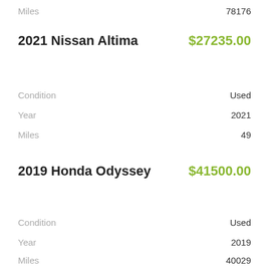Miles    78176
2021 Nissan Altima    $27235.00
Condition    Used
Year    2021
Miles    49
2019 Honda Odyssey    $41500.00
Condition    Used
Year    2019
Miles    40029